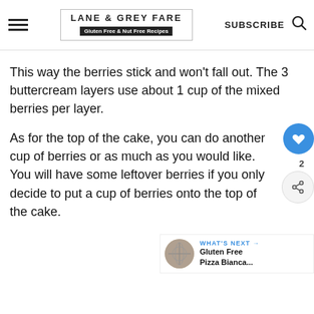LANE & GREY FARE | Gluten Free & Nut Free Recipes | SUBSCRIBE
This way the berries stick and won’t fall out. The 3 buttercream layers use about 1 cup of the mixed berries per layer.
As for the top of the cake, you can do another cup of berries or as much as you would like. You will have some leftover berries if you only decide to put a cup of berries onto the top of the cake.